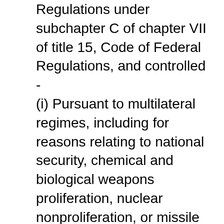Regulations under subchapter C of chapter VII of title 15, Code of Federal Regulations, and controlled - (i) Pursuant to multilateral regimes, including for reasons relating to national security, chemical and biological weapons proliferation, nuclear nonproliferation, or missile technology; or (ii) For reasons relating to regional stability or surreptitious listening; (3) Specially designed and prepared nuclear equipment, parts and components, materials, software, and technology covered by part 810 of title 10, Code of Federal